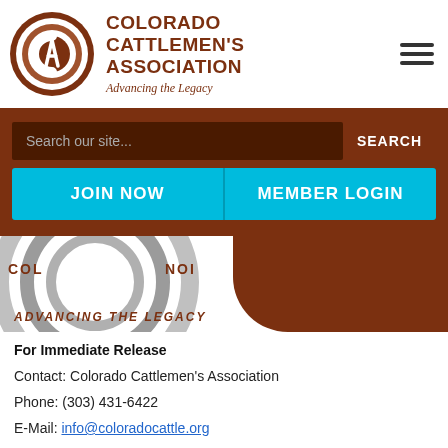[Figure (logo): Colorado Cattlemen's Association circular logo with stylized C and A letters, brown and white colors, with organization name 'COLORADO CATTLEMEN'S ASSOCIATION' and tagline 'Advancing the Legacy' in brown text]
[Figure (screenshot): Website navigation screenshot showing brown search bar with 'Search our site...' placeholder and SEARCH button, cyan JOIN NOW and MEMBER LOGIN buttons]
[Figure (logo): Large Colorado Cattlemen's Association logo watermark in hero area with 'ADVANCING THE LEGACY' italic text below]
For Immediate Release
Contact: Colorado Cattlemen's Association
Phone: (303) 431-6422
E-Mail: info@coloradocattle.org